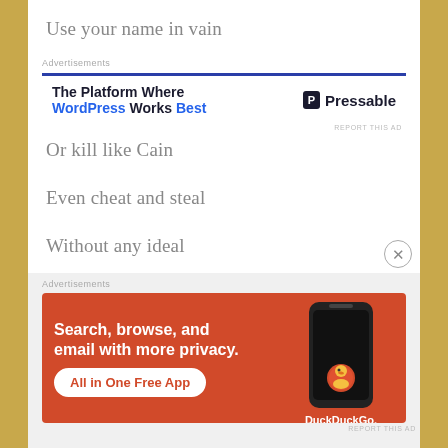Use your name in vain
[Figure (other): Advertisement banner for Pressable WordPress hosting — 'The Platform Where WordPress Works Best' with Pressable logo]
Or kill like Cain
Even cheat and steal
Without any ideal
[Figure (other): Advertisement banner for DuckDuckGo — 'Search, browse, and email with more privacy. All in One Free App' with phone showing DuckDuckGo logo]